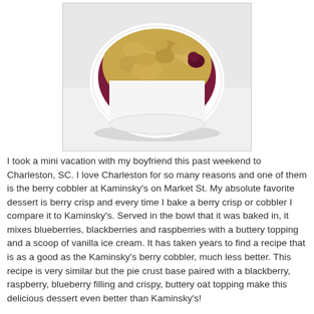[Figure (photo): A white ramekin bowl filled with berry crisp — a golden, oat-crumble topping over a deep purple-red berry filling. The bowl is photographed from slightly above against a white background.]
I took a mini vacation with my boyfriend this past weekend to Charleston, SC. I love Charleston for so many reasons and one of them is the berry cobbler at Kaminsky's on Market St. My absolute favorite dessert is berry crisp and every time I bake a berry crisp or cobbler I compare it to Kaminsky's. Served in the bowl that it was baked in, it mixes blueberries, blackberries and raspberries with a buttery topping and a scoop of vanilla ice cream. It has taken years to find a recipe that is as a good as the Kaminsky's berry cobbler, much less better. This recipe is very similar but the pie crust base paired with a blackberry, raspberry, blueberry filling and crispy, buttery oat topping make this delicious dessert even better than Kaminsky's!